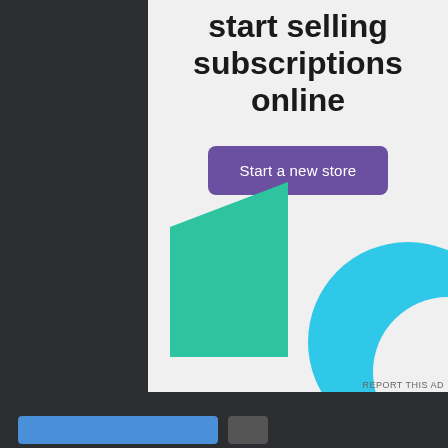start selling subscriptions online
Start a new store
[Figure (illustration): Decorative geometric shapes: a large green triangle/arrow shape on the left and a large cyan circle partially visible on the right, on a light gray background]
REPORT THIS AD